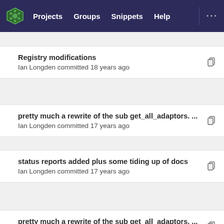Projects  Groups  Snippets  Help
Registry modifications
Ian Longden committed 18 years ago
pretty much a rewrite of the sub get_all_adaptors. ...
Ian Longden committed 17 years ago
status reports added plus some tiding up of docs
Ian Longden committed 17 years ago
pretty much a rewrite of the sub get_all_adaptors. ...
Ian Longden committed 17 years ago